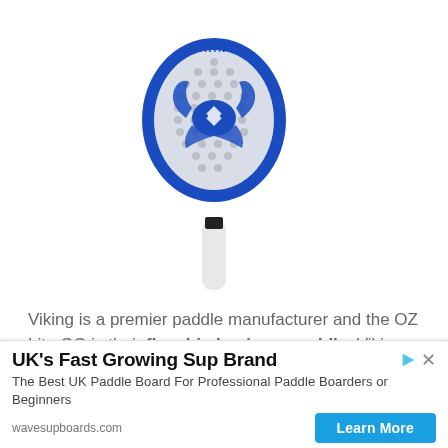[Figure (photo): Viking OZ Lite GG beach tennis / platform paddle racket. Blue frame with white perforated face, Viking logo and horned helmet graphic in blue on the face, white grip handle. The word VIKING appears at the top of the frame.]
Viking is a premier paddle manufacturer and the OZ Lite GG is their flagship beginner paddle. Viking makes three
[Figure (infographic): Advertisement banner for wavesupboards.com. Headline: UK's Fast Growing Sup Brand. Body: The Best UK Paddle Board For Professional Paddle Boarders or Beginners. URL: wavesupboards.com. CTA button: Learn More (blue button). Ad attribution icons (play/close) in top right.]